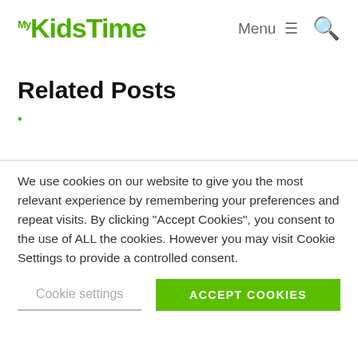My KidsTime | Menu | Search
Related Posts
•
We use cookies on our website to give you the most relevant experience by remembering your preferences and repeat visits. By clicking "Accept Cookies", you consent to the use of ALL the cookies. However you may visit Cookie Settings to provide a controlled consent.
Cookie settings | ACCEPT COOKIES